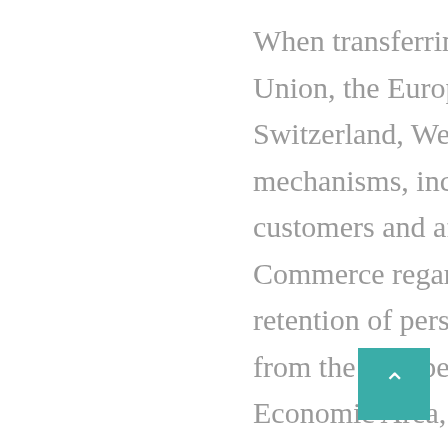When transferring data from the European Union, the European Economic Area, and Switzerland, We rely upon a variety of legal mechanisms, including contracts with our customers and affiliates. Department of Commerce regarding the collection, use, and retention of personal information transferred from the European Union, the European Economic Area, and Switzerland to the United States. To provide you with the Services, we may store, process, and transmit information in the United States and locations around the world—including those